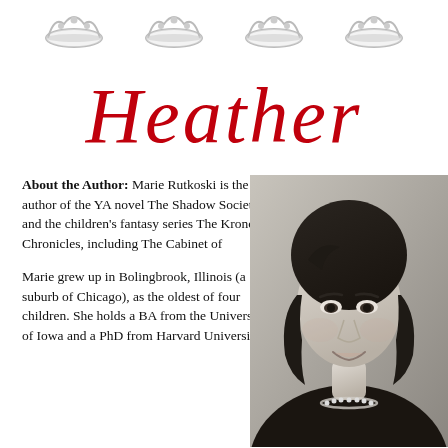[Figure (illustration): Four decorative crown/tiara icons in a row at the top of the page]
Heather
About the Author: Marie Rutkoski is the author of the YA novel The Shadow Society and the children's fantasy series The Kronos Chronicles, including The Cabinet of
Marie grew up in Bolingbrook, Illinois (a suburb of Chicago), as the oldest of four children. She holds a BA from the University of Iowa and a PhD from Harvard Universit
[Figure (photo): Black and white headshot photo of Marie Rutkoski, a woman with medium-length dark wavy hair, wearing a dark top and a pearl necklace, smiling slightly]